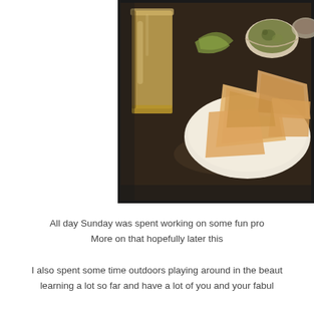[Figure (photo): Photo of food on a table: a glass of beer/drink on the left, a white plate with tortilla chips in the center-right, and small bowls with dip (guacamole) in the background. Vintage/warm filter applied. Dark border around the image.]
All day Sunday was spent working on some fun pro... More on that hopefully later this...
I also spent some time outdoors playing around in the beaut... learning a lot so far and have a lot of you and your fabul...